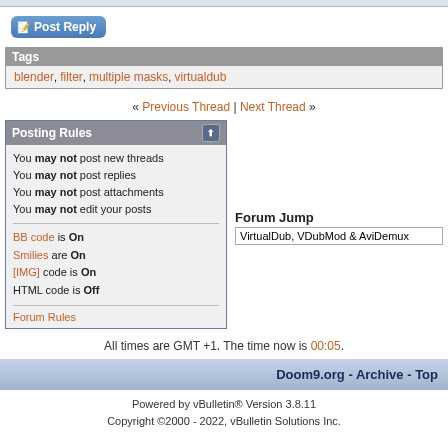[Figure (screenshot): Post Reply button - blue gradient rounded rectangle with pencil/paper icon]
Tags
blender, filter, multiple masks, virtualdub
« Previous Thread | Next Thread »
Posting Rules
You may not post new threads
You may not post replies
You may not post attachments
You may not edit your posts
BB code is On
Smilies are On
[IMG] code is On
HTML code is Off
Forum Rules
Forum Jump
VirtualDub, VDubMod & AviDemux
All times are GMT +1. The time now is 00:05.
Doom9.org - Archive - Top
Powered by vBulletin® Version 3.8.11
Copyright ©2000 - 2022, vBulletin Solutions Inc.